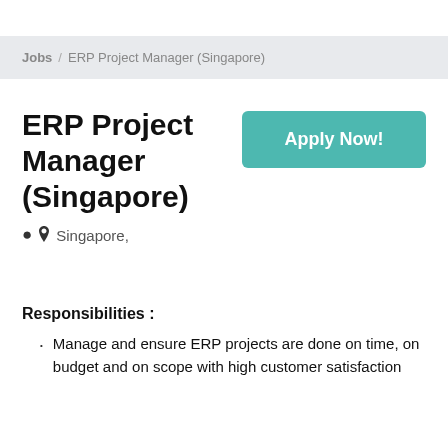Jobs / ERP Project Manager (Singapore)
ERP Project Manager (Singapore)
Singapore,
Responsibilities :
Manage and ensure ERP projects are done on time, on budget and on scope with high customer satisfaction